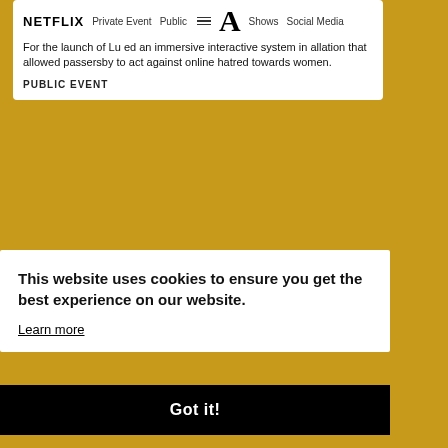[Figure (screenshot): Netflix website card showing logo, navigation items (Private Event, Public, Shows, Social Media), hamburger menu icon, large serif letter A, and descriptive text about an immersive interactive installation for the launch of a show, followed by PUBLIC EVENT label]
This website uses cookies to ensure you get the best experience on our website.
Learn more
Got it!